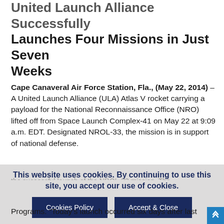United Launch Alliance Successfully Launches Four Missions in Just Seven Weeks
Cape Canaveral Air Force Station, Fla., (May 22, 2014) – A United Launch Alliance (ULA) Atlas V rocket carrying a payload for the National Reconnaissance Office (NRO) lifted off from Space Launch Complex-41 on May 22 at 9:09 a.m. EDT. Designated NROL-33, the mission is in support of national defense.
“Congratulations to all of our mission partners on
Programs. “Today’s launch occurred six days after last